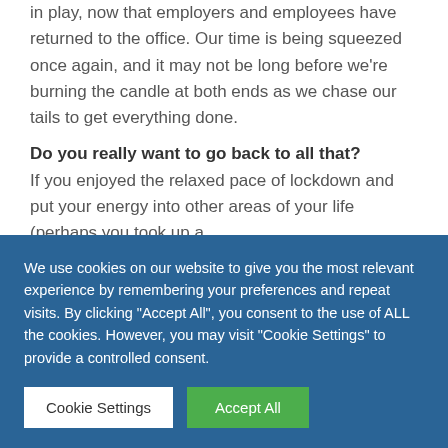in play, now that employers and employees have returned to the office. Our time is being squeezed once again, and it may not be long before we're burning the candle at both ends as we chase our tails to get everything done.
Do you really want to go back to all that? If you enjoyed the relaxed pace of lockdown and put your energy into other areas of your life (perhaps you took up a
We use cookies on our website to give you the most relevant experience by remembering your preferences and repeat visits. By clicking "Accept All", you consent to the use of ALL the cookies. However, you may visit "Cookie Settings" to provide a controlled consent.